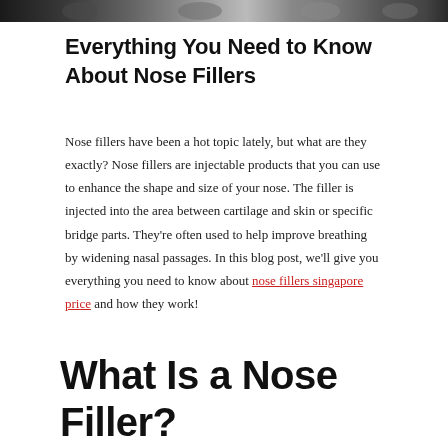[Figure (photo): A dark banner photo strip at the top of the page showing people, partially cropped]
Everything You Need to Know About Nose Fillers
Nose fillers have been a hot topic lately, but what are they exactly? Nose fillers are injectable products that you can use to enhance the shape and size of your nose. The filler is injected into the area between cartilage and skin or specific bridge parts. They're often used to help improve breathing by widening nasal passages. In this blog post, we'll give you everything you need to know about nose fillers singapore price and how they work!
What Is a Nose Filler?